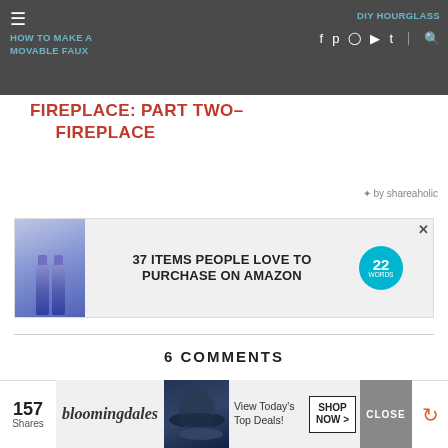HOW TO MAKE A MOVABLE FAUX FIREPLACE: PART TWO– FIREPLACE | DIY HOURGLASS
HOW TO MAKE A MOVABLE FAUX FIREPLACE: PART TWO– FIREPLACE
by shareaholic
[Figure (advertisement): 37 ITEMS PEOPLE LOVE TO PURCHASE ON AMAZON - product advertisement banner with blue spray bottles and teal badge showing '22']
6 COMMENTS
Born2empowerudiy
February 7, 2017 at 1:13 PM
[Figure (advertisement): Bloomingdales advertisement - View Today's Top Deals! with woman in hat and SHOP NOW button]
157 Shares